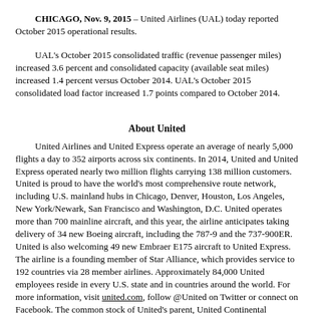CHICAGO, Nov. 9, 2015 – United Airlines (UAL) today reported October 2015 operational results.
UAL's October 2015 consolidated traffic (revenue passenger miles) increased 3.6 percent and consolidated capacity (available seat miles) increased 1.4 percent versus October 2014. UAL's October 2015 consolidated load factor increased 1.7 points compared to October 2014.
About United
United Airlines and United Express operate an average of nearly 5,000 flights a day to 352 airports across six continents. In 2014, United and United Express operated nearly two million flights carrying 138 million customers. United is proud to have the world's most comprehensive route network, including U.S. mainland hubs in Chicago, Denver, Houston, Los Angeles, New York/Newark, San Francisco and Washington, D.C. United operates more than 700 mainline aircraft, and this year, the airline anticipates taking delivery of 34 new Boeing aircraft, including the 787-9 and the 737-900ER. United is also welcoming 49 new Embraer E175 aircraft to United Express. The airline is a founding member of Star Alliance, which provides service to 192 countries via 28 member airlines. Approximately 84,000 United employees reside in every U.S. state and in countries around the world. For more information, visit united.com, follow @United on Twitter or connect on Facebook. The common stock of United's parent, United Continental Holdings, Inc., is traded on the NYSE under the symbol UAL.